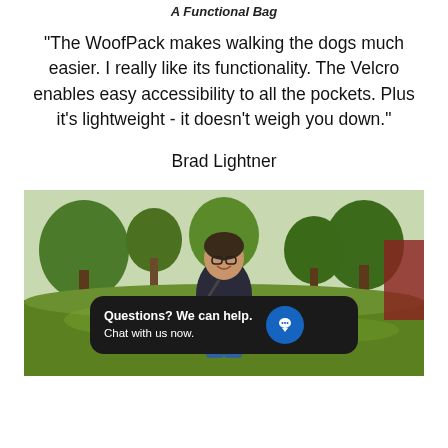A Functional Bag
"The WoofPack makes walking the dogs much easier. I really like its functionality. The Velcro enables easy accessibility to all the pockets. Plus it's lightweight - it doesn't weigh you down."
Brad Lightner
[Figure (photo): Woman smiling in a park with trees and grass in the background, wearing a dark long-sleeve shirt and glasses, with a chat overlay widget reading 'Questions? We can help. Chat with us now.']